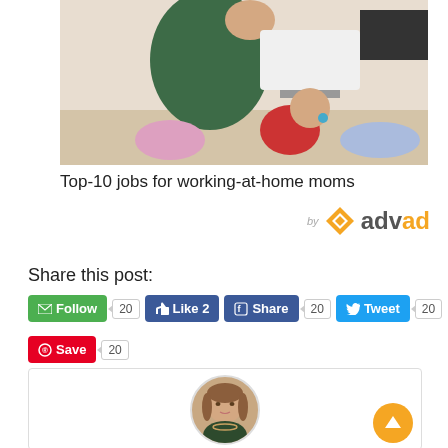[Figure (photo): A parent working on a laptop with a baby sitting beside them on the floor]
Top-10 jobs for working-at-home moms
[Figure (logo): advad logo with diamond shape in orange]
Share this post:
[Figure (screenshot): Social sharing buttons: Follow (20), Like 2, Share (20), Tweet (20), Save (20)]
[Figure (photo): Circular author profile photo of a woman with brown hair]